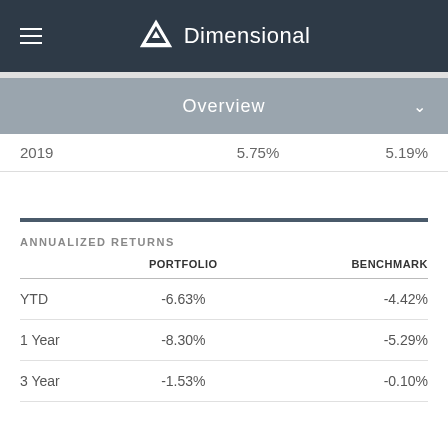Dimensional
Overview
|  |  |  |
| --- | --- | --- |
| 2019 | 5.75% | 5.19% |
ANNUALIZED RETURNS
|  | PORTFOLIO | BENCHMARK |
| --- | --- | --- |
| YTD | -6.63% | -4.42% |
| 1 Year | -8.30% | -5.29% |
| 3 Year | -1.53% | -0.10% |